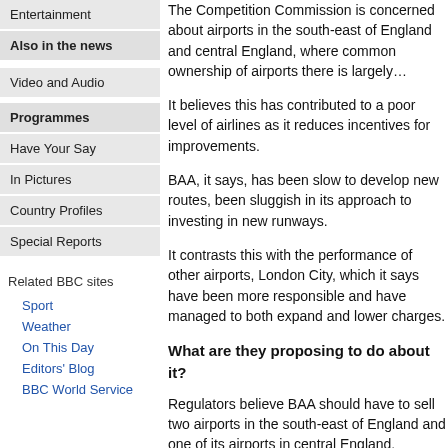Entertainment
Also in the news
Video and Audio
Programmes
Have Your Say
In Pictures
Country Profiles
Special Reports
Related BBC sites
Sport
Weather
On This Day
Editors' Blog
BBC World Service
The Competition Commission is concerned about airports in the south-east of England and central England, where common ownership of airports there is largely...
It believes this has contributed to a poor level of airlines as it reduces incentives for improvements.
BAA, it says, has been slow to develop new routes, been sluggish in its approach to investing in new runways.
It contrasts this with the performance of other airports, London City, which it says have been more responsible and have managed to both expand and lower charges.
What are they proposing to do about it?
Regulators believe BAA should have to sell two airports in the south-east of England and one of its airports in central England.
BAA has already ruled out selling Heathrow, but it is the most profitable airport in its portfolio.
On Wednesday, the Competition Commission will recommend BAA sell Gatwick and Stansted in the southeast and Edinburgh.
"Under separate ownership, the airport operator would have a much greater incentive to be far more responsive to the needs of airlines and passengers," the Competition Commission said.